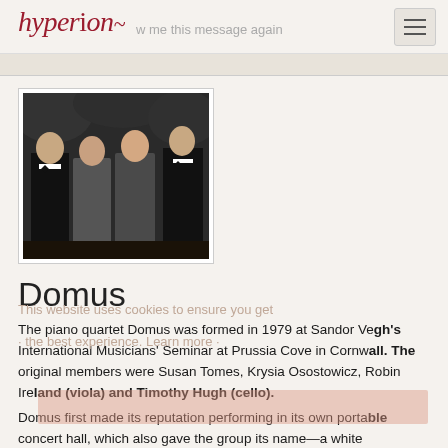Hyperion
w me this message again
[Figure (photo): Black and white group photo of four people (three women and one man) posing formally, likely the members of the piano quartet Domus. They are dressed in formal attire against a leafy background.]
Domus
This website uses cookies to ensure you get the best experience. Learn more
The piano quartet Domus was formed in 1979 at Sandor Vegh's International Musicians' Seminar at Prussia Cove in Cornwall. The original members were Susan Tomes, Krysia Osostowicz, Robin Ireland (viola) and Timothy Hugh (cello).
Domus first made its reputation performing in its own portable concert hall, which also gave the group its name—a white geodesic dome seating two hundred. Playing in this magical and